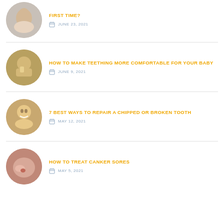[Figure (photo): Circular thumbnail of baby being held, first dentist visit article]
FIRST TIME?
JUNE 23, 2021
[Figure (photo): Circular thumbnail of baby teething, biting fingers]
HOW TO MAKE TEETHING MORE COMFORTABLE FOR YOUR BABY
JUNE 9, 2021
[Figure (photo): Circular thumbnail of smiling woman with chipped tooth article]
7 BEST WAYS TO REPAIR A CHIPPED OR BROKEN TOOTH
MAY 12, 2021
[Figure (photo): Circular thumbnail of person with canker sore, touching mouth]
HOW TO TREAT CANKER SORES
MAY 5, 2021